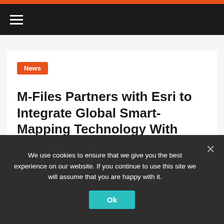Navigation bar with hamburger menu
News
M-Files Partners with Esri to Integrate Global Smart-Mapping Technology With Intelligent Information Management Platform
July 11, 2017   News
DALLAS and REDLANDS, Calif – July 11, 2017: M-Files
We use cookies to ensure that we give you the best experience on our website. If you continue to use this site we will assume that you are happy with it.